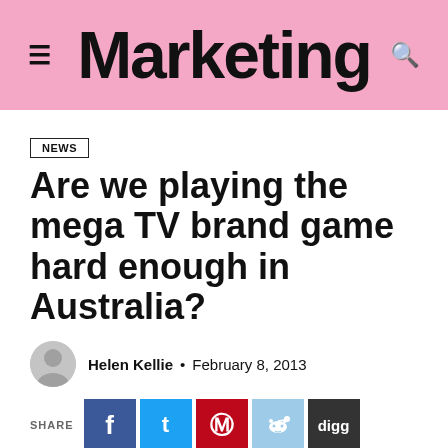Marketing
NEWS
Are we playing the mega TV brand game hard enough in Australia?
Helen Kellie · February 8, 2013
SHARE
[Figure (photo): Partial photo of a person with blonde/grey short hair, shown from behind/side, black and white or desaturated image.]